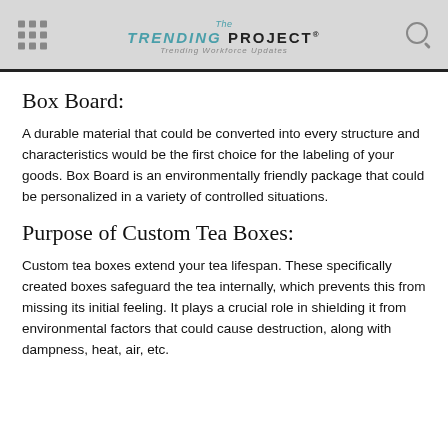The TRENDING PROJECT® — Trending Workforce Updates
Box Board:
A durable material that could be converted into every structure and characteristics would be the first choice for the labeling of your goods. Box Board is an environmentally friendly package that could be personalized in a variety of controlled situations.
Purpose of Custom Tea Boxes:
Custom tea boxes extend your tea lifespan. These specifically created boxes safeguard the tea internally, which prevents this from missing its initial feeling. It plays a crucial role in shielding it from environmental factors that could cause destruction, along with dampness, heat, air, etc.